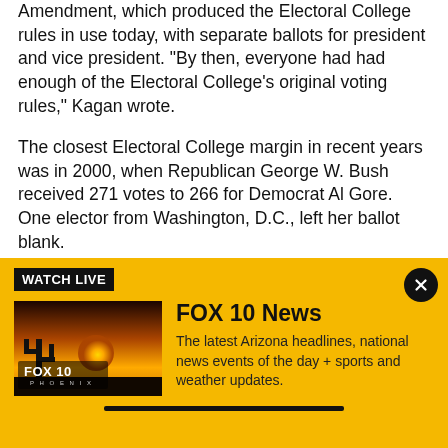Amendment, which produced the Electoral College rules in use today, with separate ballots for president and vice president. “By then, everyone had had enough of the Electoral College’s original voting rules,” Kagan wrote.
The closest Electoral College margin in recent years was in 2000, when Republican George W. Bush received 271 votes to 266 for Democrat Al Gore. One elector from Washington, D.C., left her ballot blank.
When the court heard arguments by telephone in May
[Figure (screenshot): FOX 10 News watch live promotional banner with yellow background, FOX 10 Phoenix logo image, title 'FOX 10 News', and description 'The latest Arizona headlines, national news events of the day + sports and weather updates.']